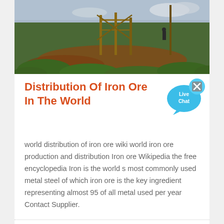[Figure (photo): Outdoor scene showing a hillside with green vegetation, red soil, wooden structures/scaffolding, and a person visible in the background under a partly cloudy sky.]
Distribution Of Iron Ore In The World
[Figure (other): Live Chat button badge in cyan/blue color with speech bubble design and a small 'x' close button.]
world distribution of iron ore wiki world iron ore production and distribution Iron ore Wikipedia the free encyclopedia Iron is the world s most commonly used metal steel of which iron ore is the key ingredient representing almost 95 of all metal used per year Contact Supplier.